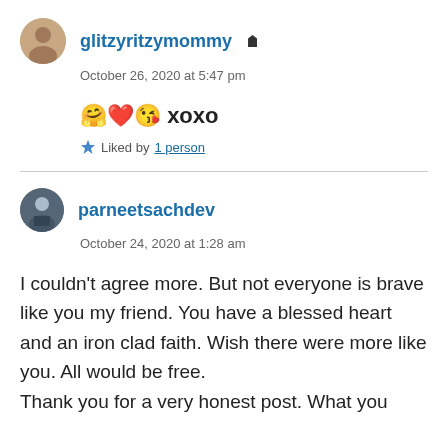glitzyritzymommy [admin icon]
October 26, 2020 at 5:47 pm
🤗❤️😘 xoxo
★ Liked by 1 person
parneetsachdev
October 24, 2020 at 1:28 am
I couldn't agree more. But not everyone is brave like you my friend. You have a blessed heart and an iron clad faith. Wish there were more like you. All would be free. Thank you for a very honest post. What you